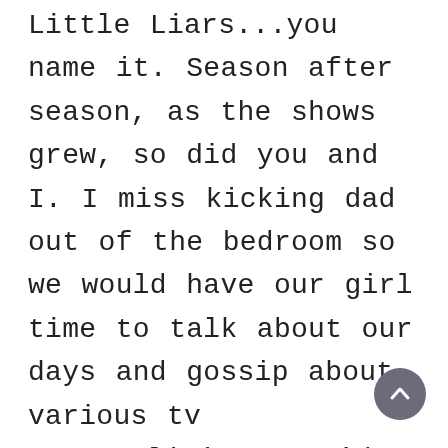Little Liars...you name it. Season after season, as the shows grew, so did you and I. I miss kicking dad out of the bedroom so we would have our girl time to talk about our days and gossip about various tv personalities. You'd educate me on the different actors and actresses in Hollywood, who is married to who, and it always amazed me at the amount of knowledge you'd have on a variety of topics. I miss the way you'd comb my hair after taking a shower, and I miss